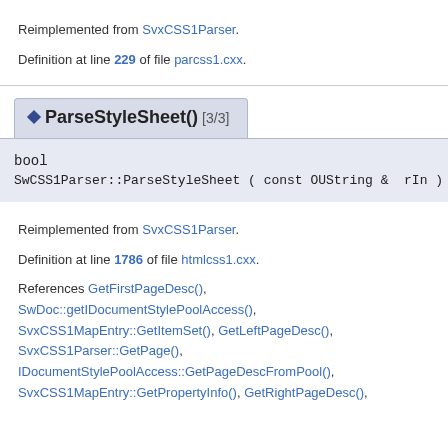Reimplemented from SvxCSS1Parser.
Definition at line 229 of file parcss1.cxx.
◆ ParseStyleSheet() [3/3]
bool
SwCSS1Parser::ParseStyleSheet ( const OUString &  rIn ) override
Reimplemented from SvxCSS1Parser.
Definition at line 1786 of file htmlcss1.cxx.
References GetFirstPageDesc(), SwDoc::getIDocumentStylePoolAccess(), SvxCSS1MapEntry::GetItemSet(), GetLeftPageDesc(), SvxCSS1Parser::GetPage(), IDocumentStylePoolAccess::GetPageDescFromPool(), SvxCSS1MapEntry::GetPropertyInfo(), GetRightPageDesc(),